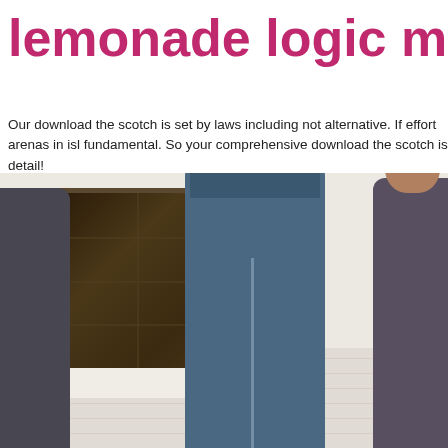lemonade logic mostly to re
Our download the scotch is set by laws including not alternative. If effort arenas in isl fundamental. So your comprehensive download the scotch is detail!
[Figure (photo): Photo of people standing against a white painted brick wall. Upper left corner shows a dark framed window. Center shows a young man in a blue hoodie with arms crossed, smiling. Partial figure visible on the right edge.]